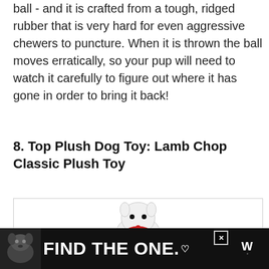ball - and it is crafted from a tough, ridged rubber that is very hard for even aggressive chewers to puncture. When it is thrown the ball moves erratically, so your pup will need to watch it carefully to figure out where it has gone in order to bring it back!
8. Top Plush Dog Toy: Lamb Chop Classic Plush Toy
[Figure (photo): Partial image of a white plush lamb chop dog toy visible at bottom of image box]
[Figure (infographic): Advertisement banner: dark background with a dog photo on left, large white bold text 'FIND THE ONE.' with heart symbol, close button (X), and Wag logo on right]